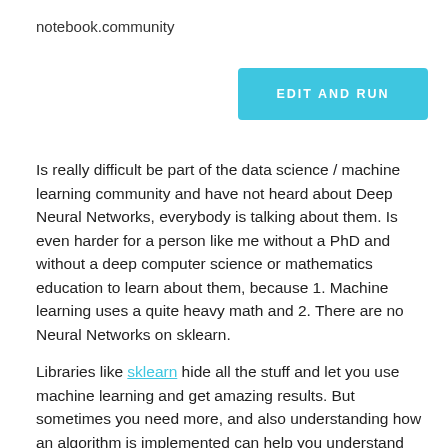notebook.community
[Figure (screenshot): EDIT AND RUN button in light blue/cyan color]
Is really difficult be part of the data science / machine learning community and have not heard about Deep Neural Networks, everybody is talking about them. Is even harder for a person like me without a PhD and without a deep computer science or mathematics education to learn about them, because 1. Machine learning uses a quite heavy math and 2. There are no Neural Networks on sklearn.
Libraries like sklearn hide all the stuff and let you use machine learning and get amazing results. But sometimes you need more, and also understanding how an algorithm is implemented can help you understand